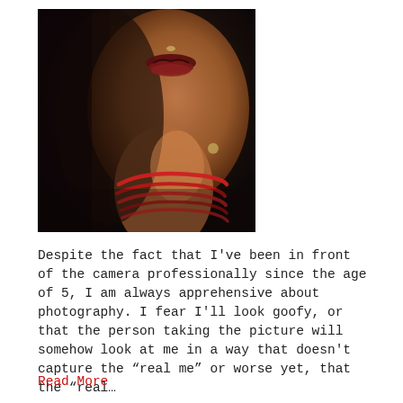[Figure (photo): Close-up portrait photo of a woman's lower face and neck. She has dark lipstick and a nose ring (septum piercing), and red rope/cord wrapped multiple times around her neck. Dark, moody lighting with warm tones on her skin.]
Despite the fact that I've been in front of the camera professionally since the age of 5, I am always apprehensive about photography. I fear I'll look goofy, or that the person taking the picture will somehow look at me in a way that doesn't capture the “real me” or worse yet, that the “real…
Read More